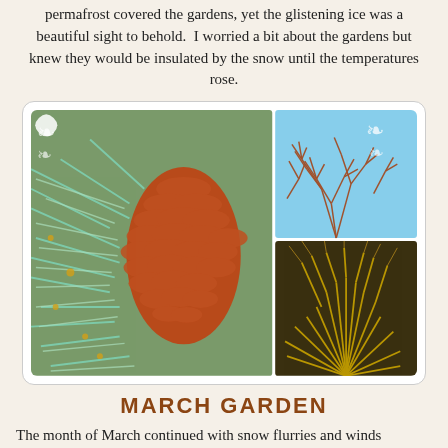permafrost covered the gardens, yet the glistening ice was a beautiful sight to behold.  I worried a bit about the gardens but knew they would be insulated by the snow until the temperatures rose.
[Figure (photo): A collage of six garden photos arranged in a grid: a large pine cone with spiky blue-green needles (center-left, spanning two rows), bare red branches against blue sky (top-right), golden-green spiky plant (middle-right), a ladybug on a stem (bottom-left), a robin on grass (bottom-center), and green succulents (bottom-right). Decorative scroll ornaments appear in corners.]
MARCH GARDEN
The month of March continued with snow flurries and winds